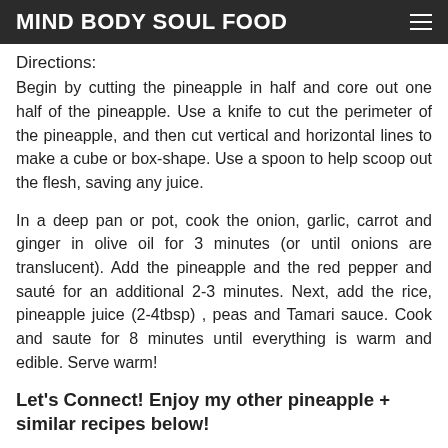MIND BODY SOUL FOOD
Directions:
Begin by cutting the pineapple in half and core out one half of the pineapple. Use a knife to cut the perimeter of the pineapple, and then cut vertical and horizontal lines to make a cube or box-shape. Use a spoon to help scoop out the flesh, saving any juice.
In a deep pan or pot, cook the onion, garlic, carrot and ginger in olive oil for 3 minutes (or until onions are translucent). Add the pineapple and the red pepper and sauté for an additional 2-3 minutes. Next, add the rice, pineapple juice (2-4tbsp) , peas and Tamari sauce. Cook and saute for 8 minutes until everything is warm and edible. Serve warm!
Let's Connect! Enjoy my other pineapple + similar recipes below!